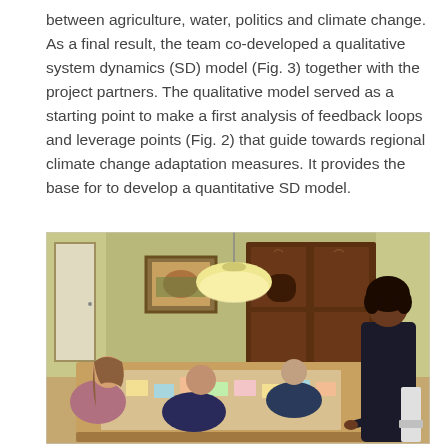between agriculture, water, politics and climate change. As a final result, the team co-developed a qualitative system dynamics (SD) model (Fig. 3) together with the project partners. The qualitative model served as a starting point to make a first analysis of feedback loops and leverage points (Fig. 2) that guide towards regional climate change adaptation measures. It provides the base for to develop a quantitative SD model.
[Figure (photo): A group of four people sitting and standing around a large table covered with papers and colored sticky notes, working together in a room with wooden furniture, a painting on the wall, and a pendant lamp overhead.]